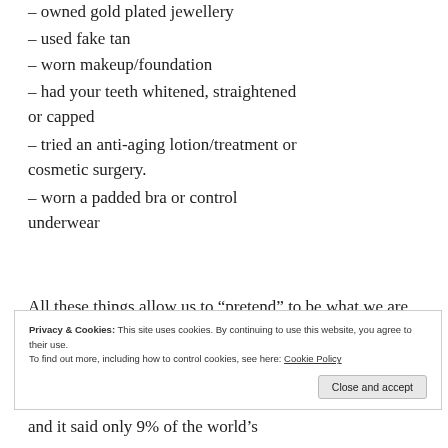– owned gold plated jewellery
– used fake tan
– worn makeup/foundation
– had your teeth whitened, straightened or capped
– tried an anti-aging lotion/treatment or cosmetic surgery.
– worn a padded bra or control underwear
All these things allow us to “pretend” to be what we are not. They allow us to project or create an attribute which we
Privacy & Cookies: This site uses cookies. By continuing to use this website, you agree to their use.
To find out more, including how to control cookies, see here: Cookie Policy
and it said only 9% of the world’s